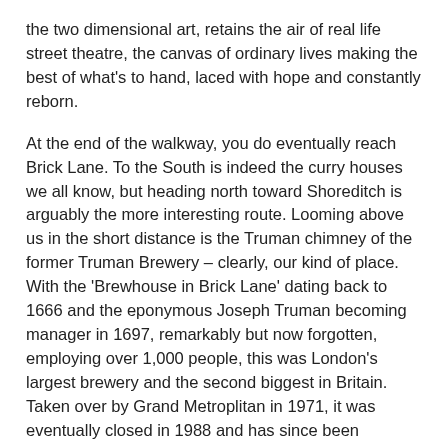the two dimensional art, retains the air of real life street theatre, the canvas of ordinary lives making the best of what's to hand, laced with hope and constantly reborn.
At the end of the walkway, you do eventually reach Brick Lane. To the South is indeed the curry houses we all know, but heading north toward Shoreditch is arguably the more interesting route. Looming above us in the short distance is the Truman chimney of the former Truman Brewery – clearly, our kind of place. With the 'Brewhouse in Brick Lane' dating back to 1666 and the eponymous Joseph Truman becoming manager in 1697, remarkably but now forgotten, employing over 1,000 people, this was London's largest brewery and the second biggest in Britain. Taken over by Grand Metroplitan in 1971, it was eventually closed in 1988 and has since been redeveloped to what is now The Old Truman Brewery. Backers describe the venue as 'East London's revolutionary arts and media quarter, [a] home to a hive of creative businesses as well as exclusively independent shops, galleries, markets, bars and restaurants'. We approve; and of course like the idea of living in a brewery.